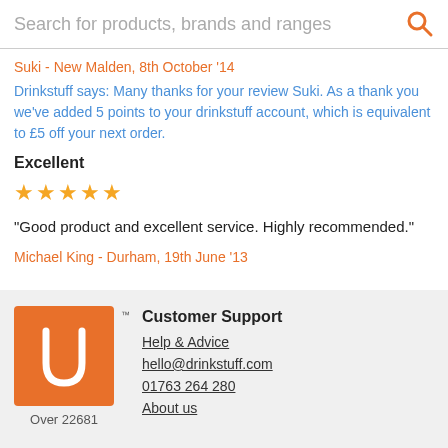Search for products, brands and ranges
Suki - New Malden, 8th October '14
Drinkstuff says: Many thanks for your review Suki. As a thank you we've added 5 points to your drinkstuff account, which is equivalent to £5 off your next order.
Excellent
★★★★★
"Good product and excellent service. Highly recommended."
Michael King - Durham, 19th June '13
[Figure (logo): Drinkstuff logo - orange square with white U-shape/hook icon and TM mark]
Over 22681
Customer Support
Help & Advice
hello@drinkstuff.com
01763 264 280
About us